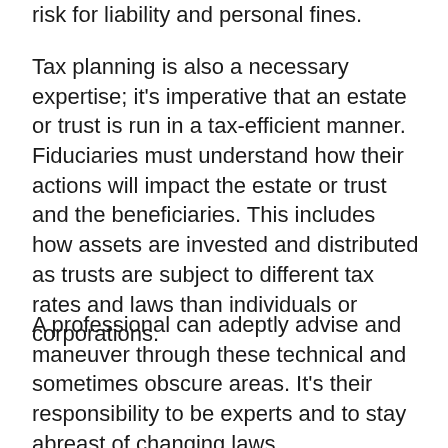risk for liability and personal fines.
Tax planning is also a necessary expertise; it's imperative that an estate or trust is run in a tax-efficient manner. Fiduciaries must understand how their actions will impact the estate or trust and the beneficiaries. This includes how assets are invested and distributed as trusts are subject to different tax rates and laws than individuals or corporations.
A professional can adeptly advise and maneuver through these technical and sometimes obscure areas. It's their responsibility to be experts and to stay abreast of changing laws.